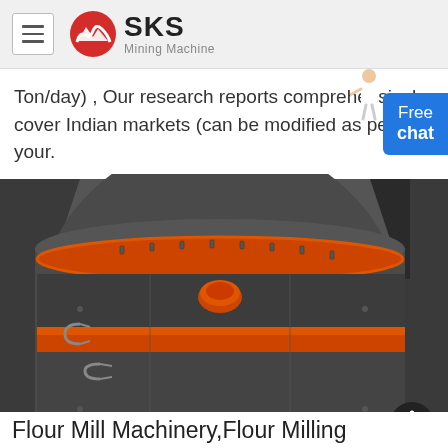SKS Mining Machine
Ton/day) , Our research reports comprehensively cover Indian markets (can be modified as per your.
[Figure (photo): Close-up photo of a large industrial flour milling machine, dark gray with orange/red accent rings, showing bolts, clamps, and metal fittings. An orange cap/plug is visible at top center. A dark vertical structure is visible at the top right.]
Flour Mill Machinery,Flour Milling